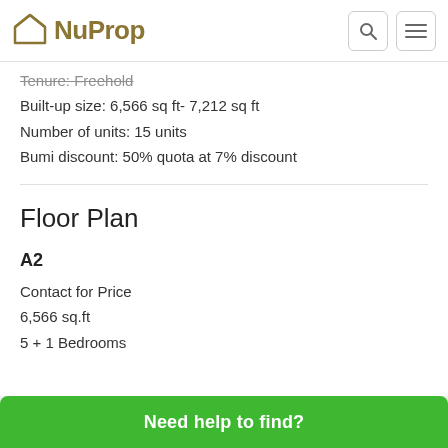NuProp
Tenure: Freehold
Built-up size: 6,566 sq ft- 7,212 sq ft
Number of units: 15 units
Bumi discount: 50% quota at 7% discount
Floor Plan
A2
Contact for Price
6,566 sq.ft
5 + 1 Bedrooms
Need help to find?